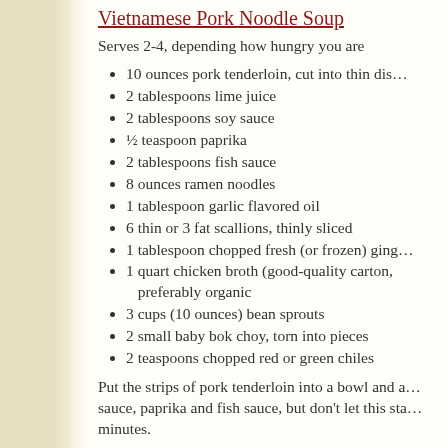Vietnamese Pork Noodle Soup
Serves 2-4, depending how hungry you are
10 ounces pork tenderloin, cut into thin dis…
2 tablespoons lime juice
2 tablespoons soy sauce
½ teaspoon paprika
2 tablespoons fish sauce
8 ounces ramen noodles
1 tablespoon garlic flavored oil
6 thin or 3 fat scallions, thinly sliced
1 tablespoon chopped fresh (or frozen) ging…
1 quart chicken broth (good-quality carton, preferably organic
3 cups (10 ounces) bean sprouts
2 small baby bok choy, torn into pieces
2 teaspoons chopped red or green chiles
Put the strips of pork tenderloin into a bowl and a… sauce, paprika and fish sauce, but don't let this sta… minutes.